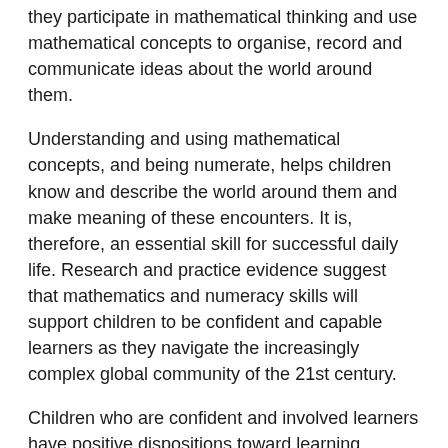they participate in mathematical thinking and use mathematical concepts to organise, record and communicate ideas about the world around them.
Understanding and using mathematical concepts, and being numerate, helps children know and describe the world around them and make meaning of these encounters. It is, therefore, an essential skill for successful daily life. Research and practice evidence suggest that mathematics and numeracy skills will support children to be confident and capable learners as they navigate the increasingly complex global community of the 21st century.
Children who are confident and involved learners have positive dispositions toward learning, experience challenge and success in their learning and are able to contribute positively and effectively to others children's learning. . . .They develop and use their imagination and curiosity as they build a ‘toolkit’ of skills and processes to